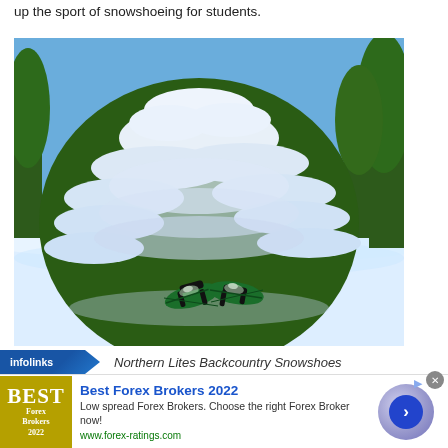up the sport of snowshoeing for students.
[Figure (photo): A snow-covered evergreen tree in a winter landscape with green snowshoes propped against the snow in the foreground. Blue sky visible above.]
Northern Lites Backcountry Snowshoes
Best Forex Brokers 2022
Low spread Forex Brokers. Choose the right Forex Broker now!
www.forex-ratings.com